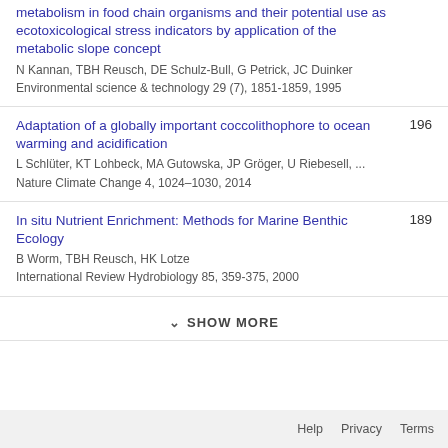metabolism in food chain organisms and their potential use as ecotoxicological stress indicators by application of the metabolic slope concept
N Kannan, TBH Reusch, DE Schulz-Bull, G Petrick, JC Duinker
Environmental science & technology 29 (7), 1851-1859, 1995
Adaptation of a globally important coccolithophore to ocean warming and acidification
L Schlüter, KT Lohbeck, MA Gutowska, JP Gröger, U Riebesell, ...
Nature Climate Change 4, 1024–1030, 2014
196
In situ Nutrient Enrichment: Methods for Marine Benthic Ecology
B Worm, TBH Reusch, HK Lotze
International Review Hydrobiology 85, 359-375, 2000
189
SHOW MORE
Help   Privacy   Terms